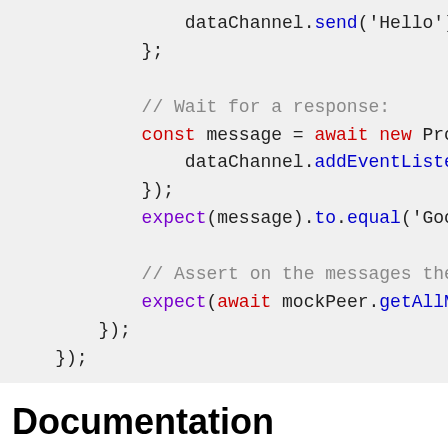[Figure (screenshot): Code snippet showing JavaScript: dataChannel.send, wait for response comment, const message = await new Promise with dataChannel.addEventListener, }); expect(message).to.equal('Goo..., // Assert on the messages the..., expect(await mockPeer.getAllM..., }); });]
Documentation